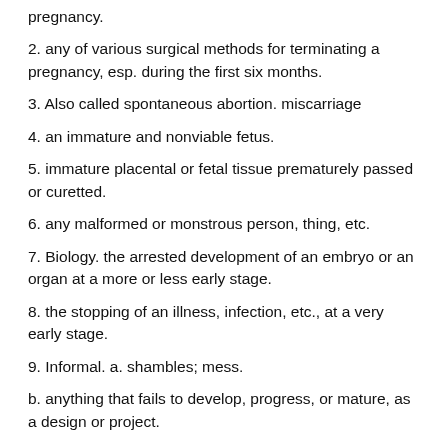pregnancy.
2. any of various surgical methods for terminating a pregnancy, esp. during the first six months.
3. Also called spontaneous abortion. miscarriage
4. an immature and nonviable fetus.
5. immature placental or fetal tissue prematurely passed or curetted.
6. any malformed or monstrous person, thing, etc.
7. Biology. the arrested development of an embryo or an organ at a more or less early stage.
8. the stopping of an illness, infection, etc., at a very early stage.
9. Informal. a. shambles; mess.
b. anything that fails to develop, progress, or mature, as a design or project.